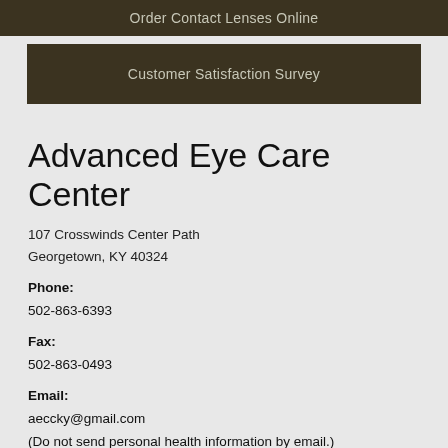Order Contact Lenses Online
Customer Satisfaction Survey
Advanced Eye Care Center
107 Crosswinds Center Path
Georgetown, KY 40324
Phone:
502-863-6393
Fax:
502-863-0493
Email:
aeccky@gmail.com
(Do not send personal health information by email.)